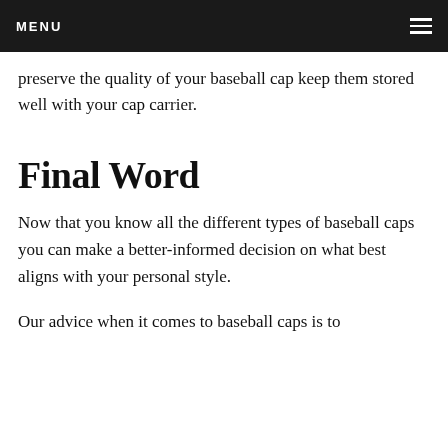MENU
preserve the quality of your baseball cap keep them stored well with your cap carrier.
Final Word
Now that you know all the different types of baseball caps you can make a better-informed decision on what best aligns with your personal style.
Our advice when it comes to baseball caps is to